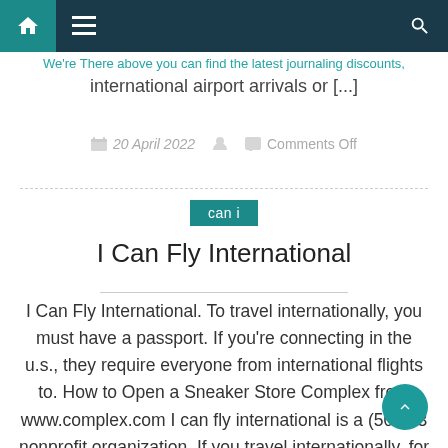Navigation bar with home, menu, and search icons
international airport arrivals or [...]
20 April 2022   Comments Off
can i
I Can Fly International
I Can Fly International. To travel internationally, you must have a passport. If you're connecting in the u.s., they require everyone from international flights to. How to Open a Sneaker Store Complex from www.complex.com I can fly international is a (501)c3 nonprofit organization. If you travel internationally, for annual vacation or during a school break, [...]